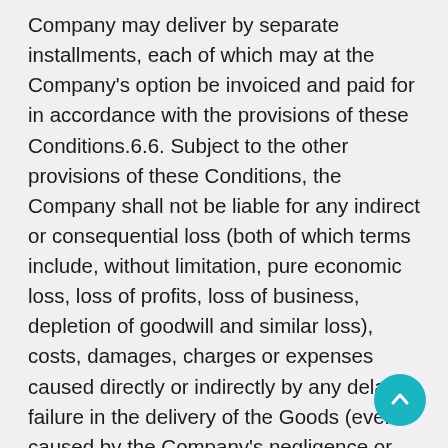Company may deliver by separate installments, each of which may at the Company's option be invoiced and paid for in accordance with the provisions of these Conditions.6.6. Subject to the other provisions of these Conditions, the Company shall not be liable for any indirect or consequential loss (both of which terms include, without limitation, pure economic loss, loss of profits, loss of business, depletion of goodwill and similar loss), costs, damages, charges or expenses caused directly or indirectly by any delay or failure in the delivery of the Goods (even if caused by the Company's negligence or deliberate breach).6.7. The Company will refuse to deliver any Goods over roads or other ground which the Company considers unsuitable and any resultant abortive costs incurred will be paid by the Customer to the Company.6.8. the Customer's responsibility to offload the Goods at